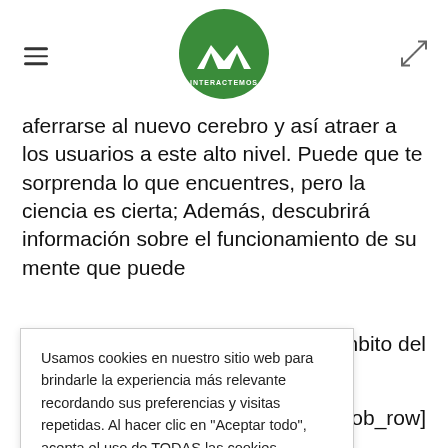[Figure (logo): Interactemos logo - green circle with white mountain/hands icon and text INTERACTEMOS below]
aferrarse al nuevo cerebro y así atraer a los usuarios a este alto nivel. Puede que te sorprenda lo que encuentres, pero la ciencia es cierta; Además, descubrirá información sobre el funcionamiento de su mente que puede
nbito del
Usamos cookies en nuestro sitio web para brindarle la experiencia más relevante recordando sus preferencias y visitas repetidas. Al hacer clic en "Aceptar todo", acepta el uso de TODAS las cookies.
ob_row]
Aceptar todo
n="3.25"
background_position_''top_left''